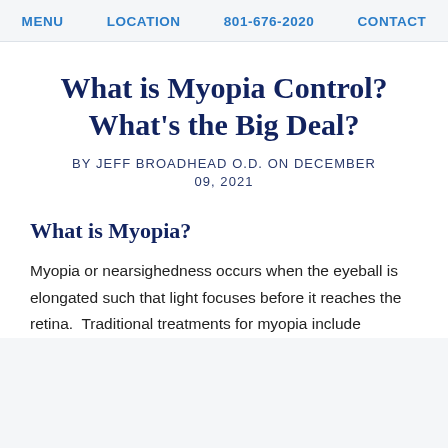MENU   LOCATION   801-676-2020   CONTACT
What is Myopia Control? What's the Big Deal?
BY JEFF BROADHEAD O.D. ON DECEMBER 09, 2021
What is Myopia?
Myopia or nearsighedness occurs when the eyeball is elongated such that light focuses before it reaches the retina.  Traditional treatments for myopia include